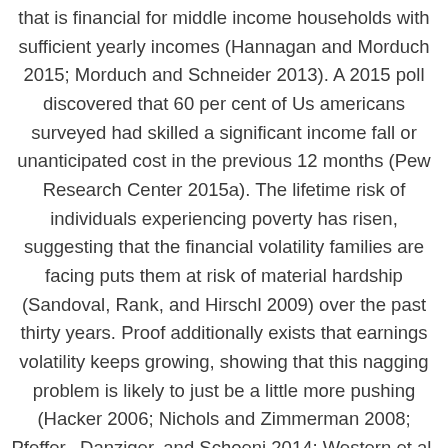that is financial for middle income households with sufficient yearly incomes (Hannagan and Morduch 2015; Morduch and Schneider 2013). A 2015 poll discovered that 60 per cent of Us americans surveyed had skilled a significant income fall or unanticipated cost in the previous 12 months (Pew Research Center 2015a). The lifetime risk of individuals experiencing poverty has risen, suggesting that the financial volatility families are facing puts them at risk of material hardship (Sandoval, Rank, and Hirschl 2009) over the past thirty years. Proof additionally exists that earnings volatility keeps growing, showing that this nagging problem is likely to just be a little more pushing (Hacker 2006; Nichols and Zimmerman 2008; Pfeffer, .Danziger, and Schoeni 2014; Western et al. 2012)